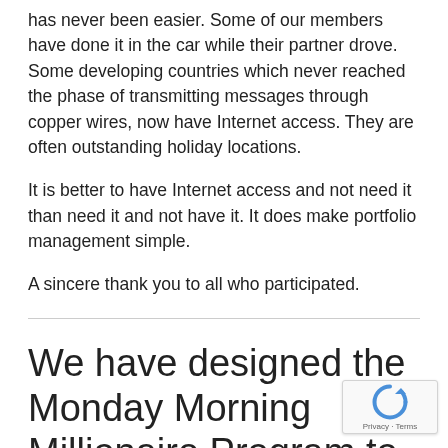has never been easier. Some of our members have done it in the car while their partner drove. Some developing countries which never reached the phase of transmitting messages through copper wires, now have Internet access. They are often outstanding holiday locations.
It is better to have Internet access and not need it than need it and not have it. It does make portfolio management simple.
A sincere thank you to all who participated.
We have designed the Monday Morning Millionaire Program to offer abstracted investment education. Over the last two decades, the program has